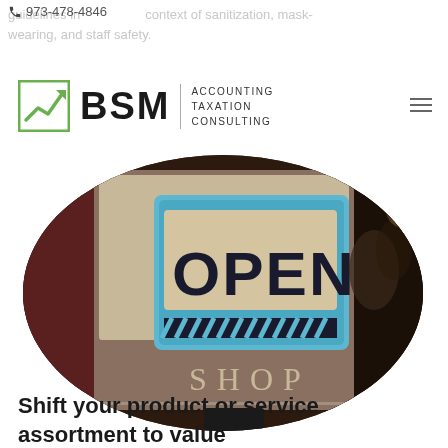973-478-4846 guidelines in the context of sanitization, mask-wearing, and staff safety.
[Figure (logo): BSM Accounting Taxation Consulting logo with green arrow icon]
[Figure (photo): Oval-cropped photo of a shop window showing an OPEN sign with SHOP text below, warm bokeh background]
Shift your product or service assortment to value